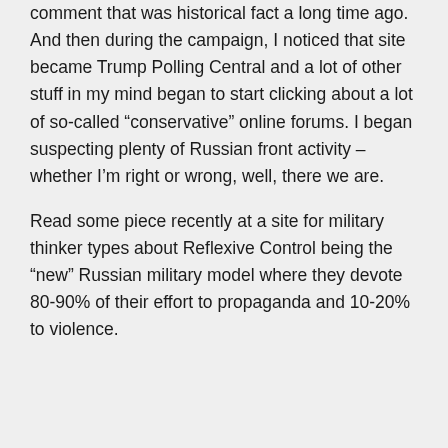comment that was historical fact a long time ago. And then during the campaign, I noticed that site became Trump Polling Central and a lot of other stuff in my mind began to start clicking about a lot of so-called “conservative” online forums. I began suspecting plenty of Russian front activity – whether I’m right or wrong, well, there we are.
Read some piece recently at a site for military thinker types about Reflexive Control being the “new” Russian military model where they devote 80-90% of their effort to propaganda and 10-20% to violence.